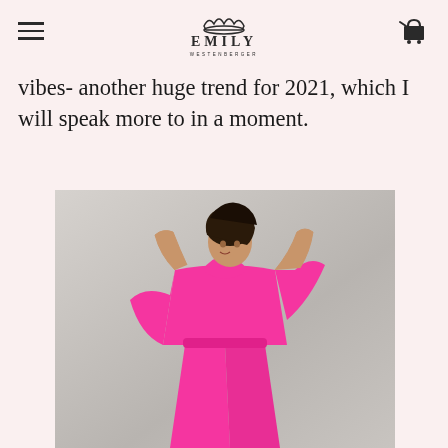Emily Westenberger — navigation header with hamburger menu, logo, and cart icon
vibes- another huge trend for 2021, which I will speak more to in a moment.
[Figure (photo): Woman wearing a bright hot pink satin long-sleeve blouse and wide-leg pants, with hands raised above her head, photographed against a neutral grey background.]